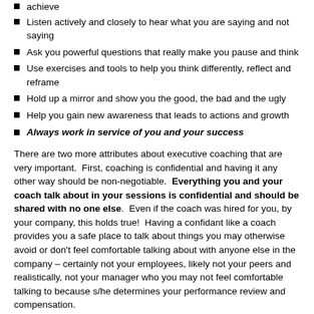Listen actively and closely to hear what you are saying and not saying
Ask you powerful questions that really make you pause and think
Use exercises and tools to help you think differently, reflect and reframe
Hold up a mirror and show you the good, the bad and the ugly
Help you gain new awareness that leads to actions and growth
Always work in service of you and your success
There are two more attributes about executive coaching that are very important. First, coaching is confidential and having it any other way should be non-negotiable. Everything you and your coach talk about in your sessions is confidential and should be shared with no one else. Even if the coach was hired for you, by your company, this holds true! Having a confidant like a coach provides you a safe place to talk about things you may otherwise avoid or don't feel comfortable talking about with anyone else in the company – certainly not your employees, likely not your peers and realistically, not your manager who you may not feel comfortable talking to because s/he determines your performance review and compensation.
Second, the coaching is best when it is holistic and goes beyond just